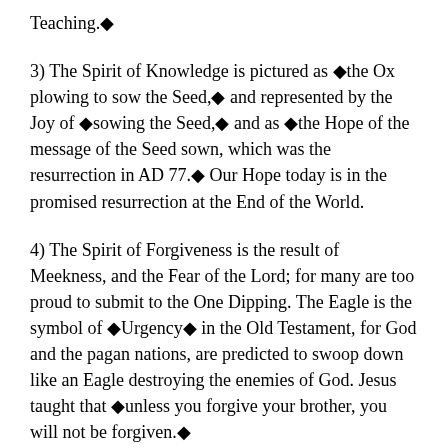Teaching.◆
3) The Spirit of Knowledge is pictured as ◆the Ox plowing to sow the Seed,◆ and represented by the Joy of ◆sowing the Seed,◆ and as ◆the Hope of the message of the Seed sown, which was the resurrection in AD 77.◆ Our Hope today is in the promised resurrection at the End of the World.
4) The Spirit of Forgiveness is the result of Meekness, and the Fear of the Lord; for many are too proud to submit to the One Dipping. The Eagle is the symbol of ◆Urgency◆ in the Old Testament, for God and the pagan nations, are predicted to swoop down like an Eagle destroying the enemies of God. Jesus taught that ◆unless you forgive your brother, you will not be forgiven.◆
5) The One Spirit of the Body represents Obedience